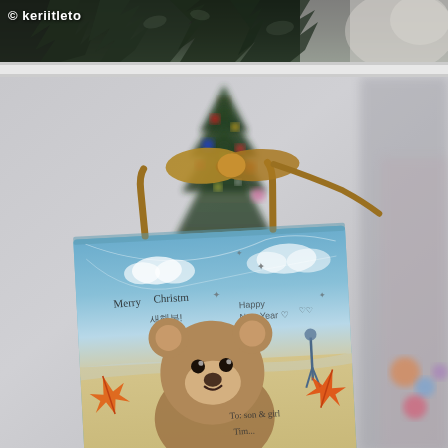[Figure (photo): Top portion of a photo showing dark foliage/branches against a blurred background, with a watermark '© keriitleto' in white text at top left]
[Figure (photo): Photo of a person holding a light blue gift bag with a brown rope/cord handle tied in a bow. The gift bag features an image of a teddy bear sitting on a sandy beach with blue sky and orange maple leaves. Text on the bag reads 'Merry Christmas' and 'Happy New Year' in Korean and English, with 'To: son & girl' and 'Tim...' visible at the bottom. A decorated Christmas tree with colorful ornaments is visible in the blurred background.]